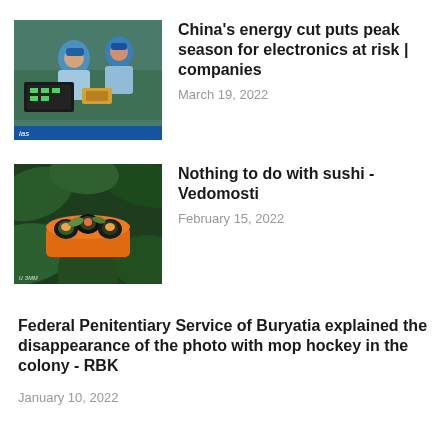[Figure (photo): Workers in blue caps and uniforms assembling electronics on a green workbench in a factory]
China’s energy cut puts peak season for electronics at risk | companies
March 19, 2022
[Figure (photo): An orange bowl filled with sushi rolls garnished with leaves and seafood, surrounded by tropical green plants]
Nothing to do with sushi - Vedomosti
February 15, 2022
Federal Penitentiary Service of Buryatia explained the disappearance of the photo with mop hockey in the colony - RBK
January 10, 2022